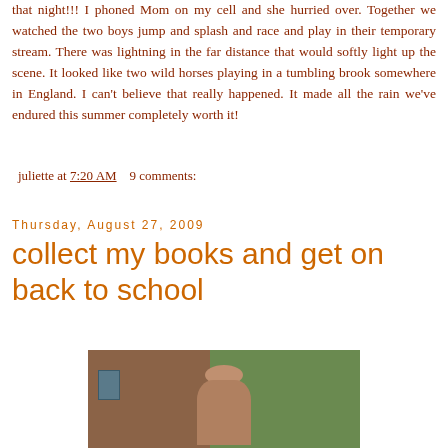that night!!! I phoned Mom on my cell and she hurried over. Together we watched the two boys jump and splash and race and play in their temporary stream. There was lightning in the far distance that would softly light up the scene. It looked like two wild horses playing in a tumbling brook somewhere in England. I can't believe that really happened. It made all the rain we've endured this summer completely worth it!
juliette at 7:20 AM    9 comments:
Thursday, August 27, 2009
collect my books and get on back to school
[Figure (photo): A person standing near a wooden building with trees and countryside in the background]